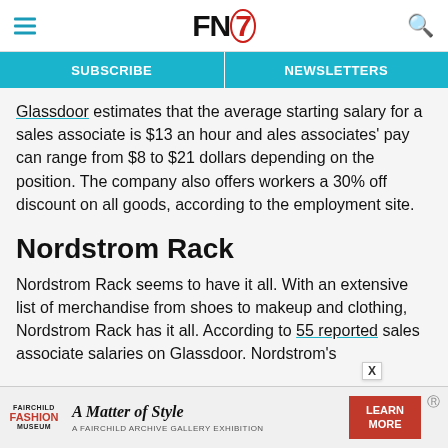FN7 (Footwear News logo with hamburger menu and search icon)
SUBSCRIBE   NEWSLETTERS
Glassdoor estimates that the average starting salary for a sales associate is $13 an hour and ales associates' pay can range from $8 to $21 dollars depending on the position. The company also offers workers a 30% off discount on all goods, according to the employment site.
Nordstrom Rack
Nordstrom Rack seems to have it all. With an extensive list of merchandise from shoes to makeup and clothing, Nordstrom Rack has it all. According to 55 reported sales associate salaries on Glassdoor. Nordstrom's
[Figure (advertisement): Fairchild Fashion Museum - A Matter of Style advertisement with Learn More button]